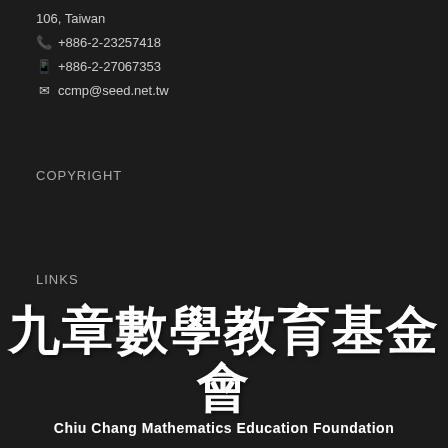106, Taiwan
📞 +886-2-23257418
📠 +886-2-27067353
✉ ccmp@seed.net.tw
COPYRIGHT
LINKS
[Figure (logo): Chiu Chang Mathematics Education Foundation logo with Chinese characters 九章數學教育基金會 and English subtitle]
[Figure (logo): IMAS (International Mathematics Assessments for Schools) circular badge logo]